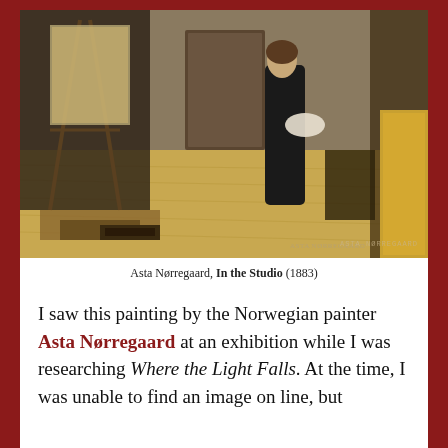[Figure (photo): Painting by Asta Nørregaard showing an artist standing in a studio holding a palette, surrounded by canvases and studio equipment on a wooden floor.]
Asta Nørregaard, In the Studio (1883)
I saw this painting by the Norwegian painter Asta Nørregaard at an exhibition while I was researching Where the Light Falls. At the time, I was unable to find an image on line, but